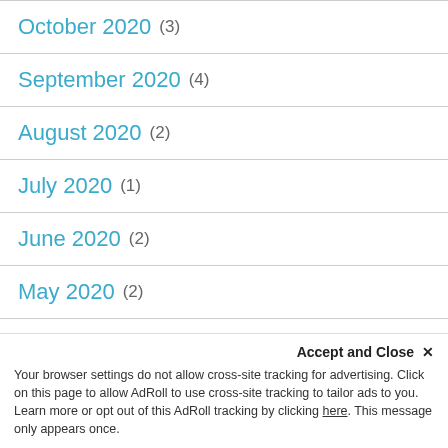October 2020 (3)
September 2020 (4)
August 2020 (2)
July 2020 (1)
June 2020 (2)
May 2020 (2)
April 2020 (2)
February 2020 (1)
January 2020 (1)
November 2019 (2)
Accept and Close ✕ Your browser settings do not allow cross-site tracking for advertising. Click on this page to allow AdRoll to use cross-site tracking to tailor ads to you. Learn more or opt out of this AdRoll tracking by clicking here. This message only appears once.